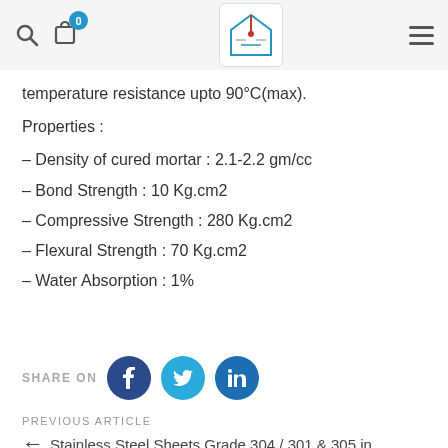navigation bar with search, cart (0), logo, menu
temperature resistance upto 90°C(max).
Properties :
– Density of cured mortar : 2.1-2.2 gm/cc
– Bond Strength : 10 Kg.cm2
– Compressive Strength : 280 Kg.cm2
– Flexural Strength : 70 Kg.cm2
– Water Absorption : 1%
SHARE ON
PREVIOUS ARTICLE — Stainless Steel Sheets Grade 304 / 301 & 305 in…